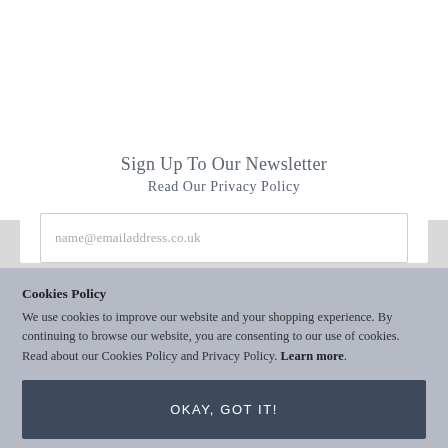Sign Up To Our Newsletter
Read Our Privacy Policy
name@emailaddress.co.uk
Cookies Policy
We use cookies to improve our website and your shopping experience. By continuing to browse our website, you are consenting to our use of cookies. Read about our Cookies Policy and Privacy Policy. Learn more.
OKAY, GOT IT!